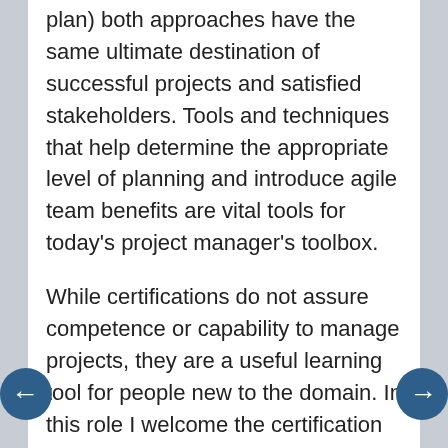plan) both approaches have the same ultimate destination of successful projects and satisfied stakeholders. Tools and techniques that help determine the appropriate level of planning and introduce agile team benefits are vital tools for today's project manager's toolbox.
While certifications do not assure competence or capability to manage projects, they are a useful learning tool for people new to the domain. In this role I welcome the certification for the training and awareness it will bring to this important and expanding field.
I am especially pleased by the quality of the agile thought leaders engaged in the design and evolution of the program. By having expert contributors from the agile field, the risk of misapplication by the uninitiated, or rejection by